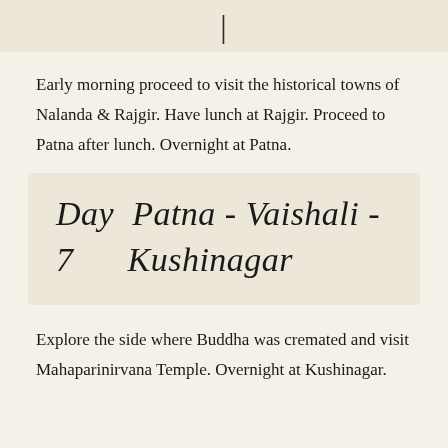[Figure (other): Decorative banner with stylized text or symbol at top of page]
Early morning proceed to visit the historical towns of Nalanda & Rajgir. Have lunch at Rajgir. Proceed to Patna after lunch. Overnight at Patna.
Day 7   Patna - Vaishali - Kushinagar
Explore the side where Buddha was cremated and visit Mahaparinirvana Temple. Overnight at Kushinagar.